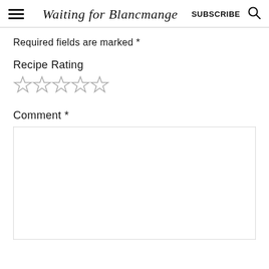Waiting for Blancmange | SUBSCRIBE
Required fields are marked *
Recipe Rating
[Figure (other): Five empty star rating icons]
Comment *
[Figure (other): Empty comment text area box]